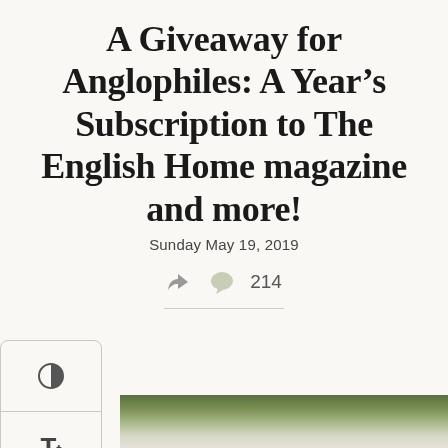A Giveaway for Anglophiles: A Year's Subscription to The English Home magazine and more!
Sunday May 19, 2019
214 comments
[Figure (photo): Partial photo of flowers (white hydrangeas and green leaves) visible at the bottom of the page. A sidebar with contrast, font size, and scroll-to-top icons is on the left.]